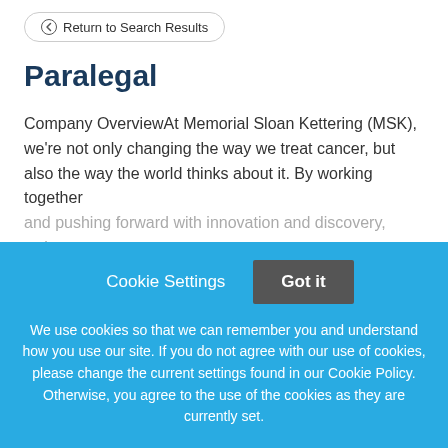Return to Search Results
Paralegal
Company OverviewAt Memorial Sloan Kettering (MSK), we're not only changing the way we treat cancer, but also the way the world thinks about it. By working together and pushing forward with innovation and discovery, we're
This job listing is no longer active.
Cookie Settings  Got it
We use cookies so that we can remember you and understand how you use our site. If you do not agree with our use of cookies, please change the current settings found in our Cookie Policy. Otherwise, you agree to the use of the cookies as they are currently set.